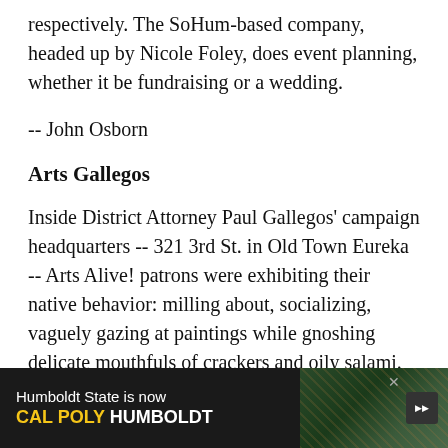respectively. The SoHum-based company, headed up by Nicole Foley, does event planning, whether it be fundraising or a wedding.
-- John Osborn
Arts Gallegos
Inside District Attorney Paul Gallegos' campaign headquarters -- 321 3rd St. in Old Town Eureka -- Arts Alive! patrons were exhibiting their native behavior: milling about, socializing, vaguely gazing at paintings while gnoshing delicate mouthfuls of crackers and oily salami. At the counter of the former coffee house, a woman absentmindedly ran her fingers through a basket
[Figure (infographic): Advertisement banner: 'Humboldt State is now CAL POLY HUMBOLDT' with forest/campus background image and forward arrow button]